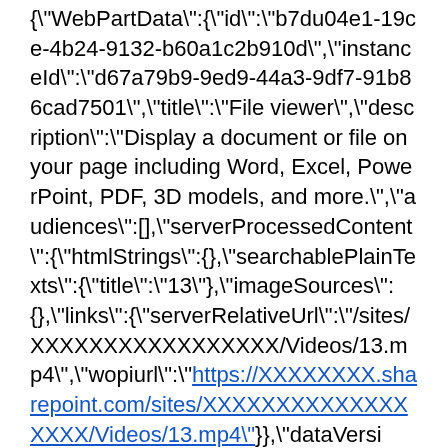{"WebPartData":{"id":"b7du04e1-19ce-4b24-9132-b60a1c2b910d","instanceId":"d67a79b9-9ed9-44a3-9df7-91b86cad7501","title":"File viewer","description":"Display a document or file on your page including Word, Excel, PowerPoint, PDF, 3D models, and more.","audiences":[],"serverProcessedContent":{"htmlStrings":{},"searchablePlainTexts":{"title":"13"},"imageSources":{},"links":{"serverRelativeUrl":"/sites/XXXXXXXXXXXXXXXXX/Videos/13.mp4","wopiurl":"https://XXXXXXXX.sharepoint.com/sites/XXXXXXXXXXXXXXXXX/Videos/13.mp4"}},"dataVersi